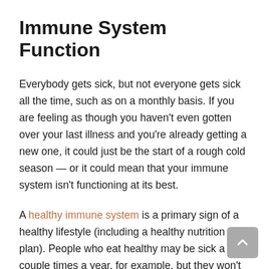Immune System Function
Everybody gets sick, but not everyone gets sick all the time, such as on a monthly basis. If you are feeling as though you haven't even gotten over your last illness and you're already getting a new one, it could just be the start of a rough cold season — or it could mean that your immune system isn't functioning at its best.
A healthy immune system is a primary sign of a healthy lifestyle (including a healthy nutrition plan). People who eat healthy may be sick a couple times a year, for example, but they won't be getting illness after illness, week after week. If you are someone who has felt like you